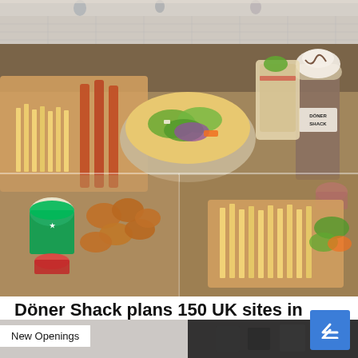[Figure (photo): Top portion showing a food court or restaurant interior with tiled floor, partially visible]
[Figure (photo): Döner Shack food items displayed on a table including fries in boxes, a salad bowl, a milkshake with the Döner Shack logo, chicken nuggets, and other menu items in kraft paper packaging]
Döner Shack plans 150 UK sites in next five years
19 Aug '22
New Openings